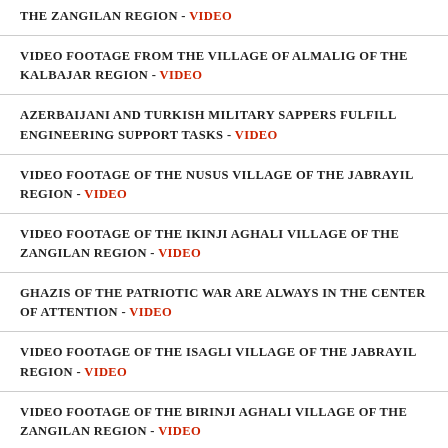THE ZANGILAN REGION - VIDEO
VIDEO FOOTAGE FROM THE VILLAGE OF ALMALIG OF THE KALBAJAR REGION - VIDEO
AZERBAIJANI AND TURKISH MILITARY SAPPERS FULFILL ENGINEERING SUPPORT TASKS - VIDEO
VIDEO FOOTAGE OF THE NUSUS VILLAGE OF THE JABRAYIL REGION - VIDEO
VIDEO FOOTAGE OF THE IKINJI AGHALI VILLAGE OF THE ZANGILAN REGION - VIDEO
GHAZIS OF THE PATRIOTIC WAR ARE ALWAYS IN THE CENTER OF ATTENTION - VIDEO
VIDEO FOOTAGE OF THE ISAGLI VILLAGE OF THE JABRAYIL REGION - VIDEO
VIDEO FOOTAGE OF THE BIRINJI AGHALI VILLAGE OF THE ZANGILAN REGION - VIDEO
THE PROVISION OF THE AZERBAIJAN ARMY UNITS STATIONED IN LIBERATED TERRITORIES IS BEING